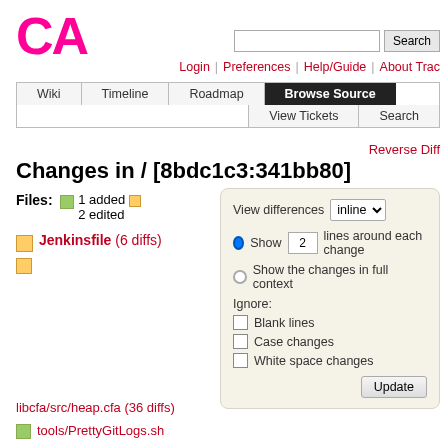[Figure (logo): CA logo in pink/magenta color]
Login | Preferences | Help/Guide | About Trac
Wiki | Timeline | Roadmap | Browse Source | View Tickets | Search
Reverse Diff
Changes in / [8bdc1c3:341bb80]
Files: 1 added 2 edited
Jenkinsfile (6 diffs)
[Figure (screenshot): View differences panel with inline dropdown, Show 2 lines around each change radio, Show the changes in full context radio, Ignore checkboxes for Blank lines, Case changes, White space changes, and Update button]
libcfa/src/heap.cfa (36 diffs)
tools/PrettyGitLogs.sh